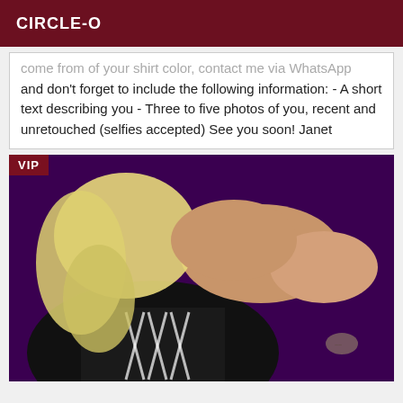CIRCLE-O
...come from of your shirt color, contact me via WhatsApp and don't forget to include the following information: - A short text describing you - Three to five photos of you, recent and unretouched (selfies accepted) See you soon! Janet
[Figure (photo): Photo of a person with blonde hair wearing a black top with lace-up detail, on a purple background. A 'VIP' badge is shown in the top-left corner.]